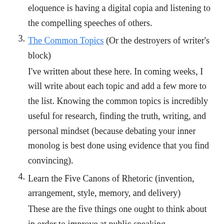eloquence is having a digital copia and listening to the compelling speeches of others.
The Common Topics (Or the destroyers of writer’s block) I’ve written about these here. In coming weeks, I will write about each topic and add a few more to the list. Knowing the common topics is incredibly useful for research, finding the truth, writing, and personal mindset (because debating your inner monolog is best done using evidence that you find convincing).
Learn the Five Canons of Rhetoric (invention, arrangement, style, memory, and delivery) These are the five things one ought to think about in order to improve at public speaking...